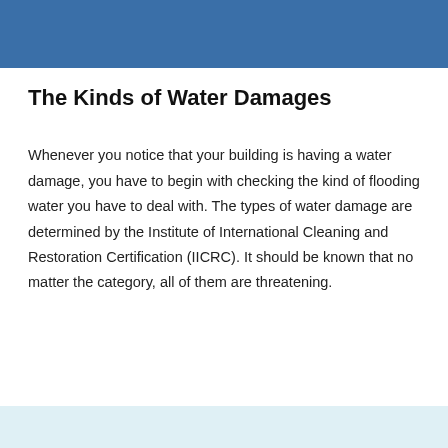The Kinds of Water Damages
Whenever you notice that your building is having a water damage, you have to begin with checking the kind of flooding water you have to deal with. The types of water damage are determined by the Institute of International Cleaning and Restoration Certification (IICRC). It should be known that no matter the category, all of them are threatening.